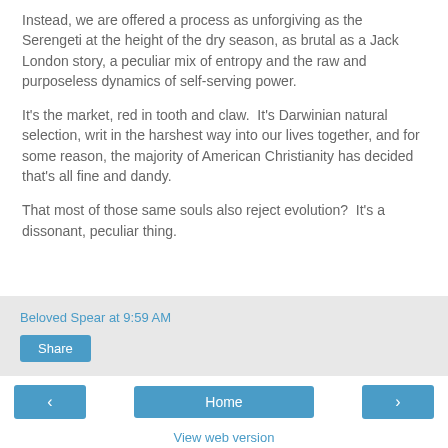Instead, we are offered a process as unforgiving as the Serengeti at the height of the dry season, as brutal as a Jack London story, a peculiar mix of entropy and the raw and purposeless dynamics of self-serving power.
It's the market, red in tooth and claw.  It's Darwinian natural selection, writ in the harshest way into our lives together, and for some reason, the majority of American Christianity has decided that's all fine and dandy.
That most of those same souls also reject evolution?  It's a dissonant, peculiar thing.
Beloved Spear at 9:59 AM
Share
Home
View web version